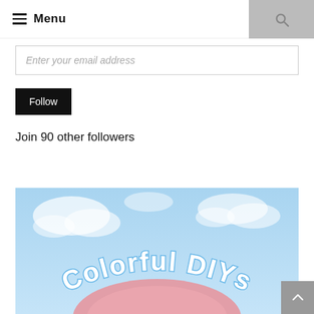Menu
Enter your email address
Follow
Join 90 other followers
[Figure (photo): Colorful DIYs banner image with sky background and decorative curved text reading 'Colorful DIYs' in white retro style lettering over a pink textured element]
Colorful DIYs